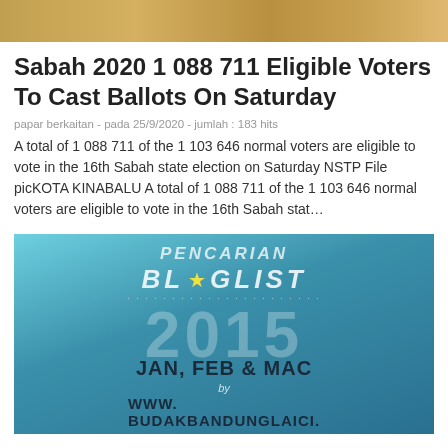[Figure (photo): Cropped top portion of a food/cooking photo with brown and yellow tones]
Sabah 2020 1 088 711 Eligible Voters To Cast Ballots On Saturday
papar berkaitan - pada 25/9/2020 - jumlah : 183 hits
A total of 1 088 711 of the 1 103 646 normal voters are eligible to vote in the 16th Sabah state election on Saturday NSTP File picKOTA KINABALU A total of 1 088 711 of the 1 103 646 normal voters are eligible to vote in the 16th Sabah stat…
[Figure (photo): Promotional image for Pencarian Bloglist 2015 Jan, Feb & Mac by www.budakbandunglaici...]
Sabah 2020 Grs Component Party May